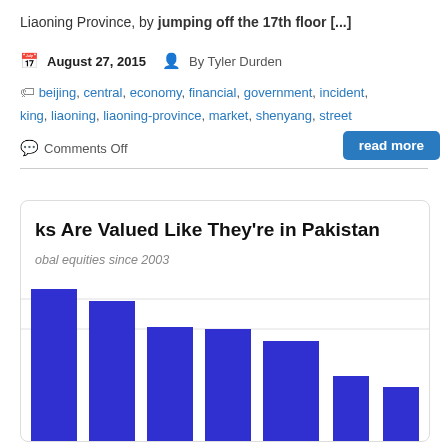Liaoning Province, by jumping off the 17th floor [...]
August 27, 2015  By Tyler Durden
beijing, central, economy, financial, government, incident, king, liaoning, liaoning-province, market, shenyang, street
Comments Off
[Figure (bar-chart): Partial bar chart showing global equities since 2003, with blue/indigo bars of varying heights. Bars visible for approximately 7 categories, partially cropped.]